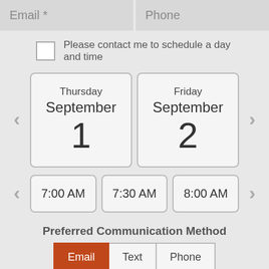Email *
Phone
Please contact me to schedule a day and time
[Figure (screenshot): Day selector cards showing Thursday September 1 and Friday September 2 with left and right navigation arrows]
[Figure (screenshot): Time selector cards showing 7:00 AM, 7:30 AM, and 8:00 AM with left and right navigation arrows]
Preferred Communication Method
Email
Text
Phone